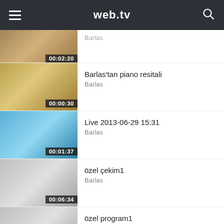web.tv
[Figure (screenshot): Partially visible video thumbnail with duration 00:02:20]
Barlas
[Figure (screenshot): Video thumbnail of child at piano with duration 00:00:30]
Barlas'tan piano resitali
Barlas
[Figure (screenshot): Video thumbnail of child at pool with duration 00:01:37]
Live 2013-06-29 15:31
Barlas
[Figure (screenshot): Video thumbnail of person with duration 00:06:34]
özel çekim1
Barlas
[Figure (screenshot): Video thumbnail of person with duration 00:06:34]
özel program1
Barlas